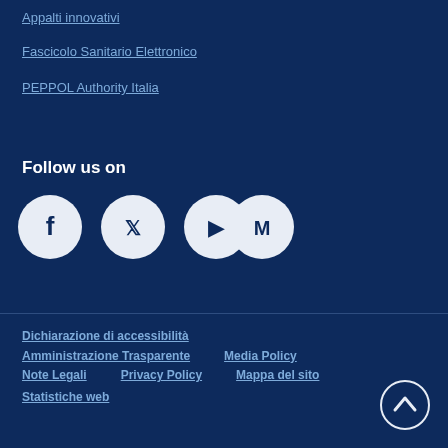Appalti innovativi
Fascicolo Sanitario Elettronico
PEPPOL Authority Italia
Follow us on
[Figure (infographic): Social media icons: Facebook, Twitter, YouTube, Medium]
Dichiarazione di accessibilità  Amministrazione Trasparente  Media Policy  Note Legali  Privacy Policy  Mappa del sito  Statistiche web